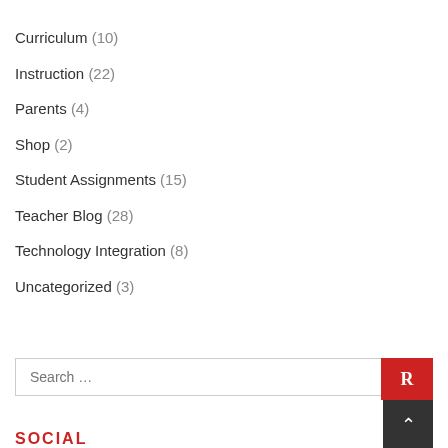Curriculum (10)
Instruction (22)
Parents (4)
Shop (2)
Student Assignments (15)
Teacher Blog (28)
Technology Integration (8)
Uncategorized (3)
Search …
SOCIAL